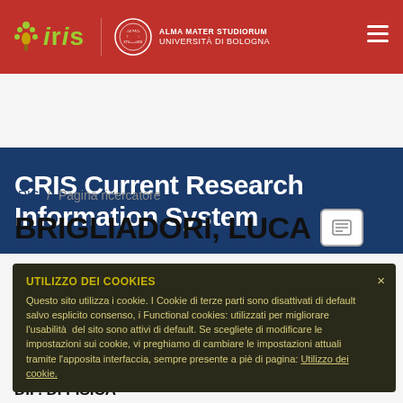IRIS — ALMA MATER STUDIORUM UNIVERSITÀ DI BOLOGNA
CRIS Current Research Information System
IRIS / Pagina ricercatore
BRIGLIADORI, LUCA
UTILIZZO DEI COOKIES
Questo sito utilizza i cookie. I Cookie di terze parti sono disattivati di default salvo esplicito consenso, i Functional cookies: utilizzati per migliorare l'usabilità del sito sono attivi di default. Se scegliete di modificare le impostazioni sui cookie, vi preghiamo di cambiare le impostazioni attuali tramite l'apposita interfaccia, sempre presente a piè di pagina: Utilizzo dei cookie.
DIP. DI FISICA